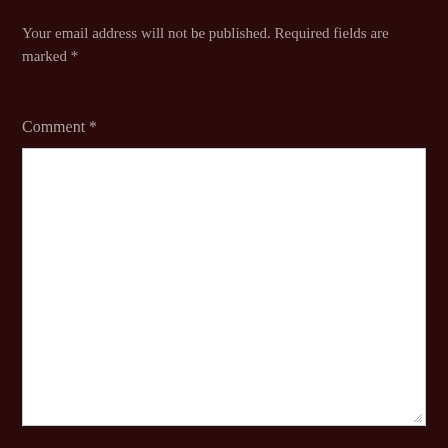Your email address will not be published. Required fields are marked *
Comment *
[Figure (other): Empty white comment text area input box with resize handle in bottom-right corner]